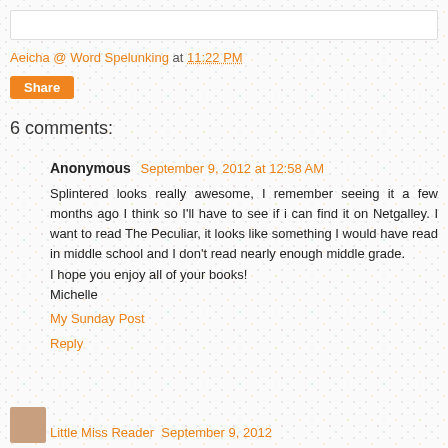Aeicha @ Word Spelunking at 11:22 PM
Share
6 comments:
Anonymous September 9, 2012 at 12:58 AM
Splintered looks really awesome, I remember seeing it a few months ago I think so I'll have to see if i can find it on Netgalley. I want to read The Peculiar, it looks like something I would have read in middle school and I don't read nearly enough middle grade.
I hope you enjoy all of your books!
Michelle
My Sunday Post
Reply
Little Miss Reader September 9, 2012